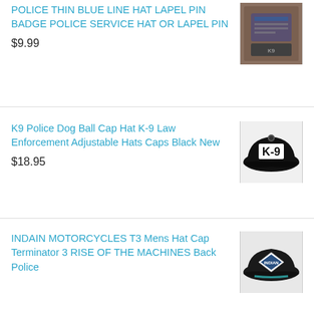POLICE THIN BLUE LINE HAT LAPEL PIN BADGE POLICE SERVICE HAT OR LAPEL PIN
$9.99
[Figure (photo): Product photo of police thin blue line hat lapel pin badge]
K9 Police Dog Ball Cap Hat K-9 Law Enforcement Adjustable Hats Caps Black New
$18.95
[Figure (photo): Product photo of black K-9 police ball cap hat]
INDAIN MOTORCYCLES T3 Mens Hat Cap Terminator 3 RISE OF THE MACHINES Back Police
[Figure (photo): Product photo of Indian Motorcycles Terminator 3 hat cap]